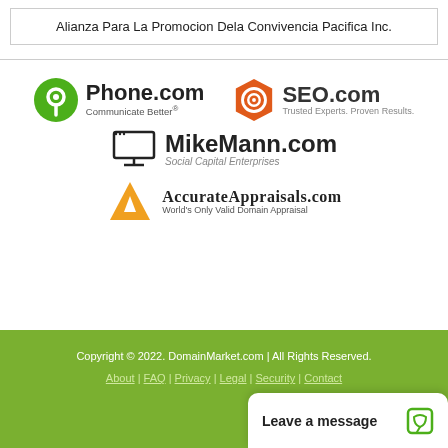Alianza Para La Promocion Dela Convivencia Pacifica Inc.
[Figure (logo): Phone.com logo — green circle with location pin icon, text Phone.com Communicate Better®]
[Figure (logo): SEO.com logo — orange hexagon with target icon, text SEO.com Trusted Experts. Proven Results.]
[Figure (logo): MikeMann.com logo — monitor/screen icon, text MikeMann.com Social Capital Enterprises]
[Figure (logo): AccurateAppraisals.com logo — orange triangle A icon, text AccurateAppraisals.com World's Only Valid Domain Appraisal]
Copyright © 2022. DomainMarket.com | All Rights Reserved. About | FAQ | Privacy | Legal | Security | Contact
Leave a message